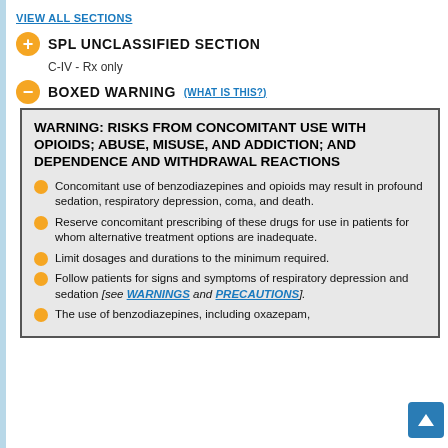VIEW ALL SECTIONS
SPL UNCLASSIFIED SECTION
C-IV - Rx only
BOXED WARNING (WHAT IS THIS?)
WARNING: RISKS FROM CONCOMITANT USE WITH OPIOIDS; ABUSE, MISUSE, AND ADDICTION; AND DEPENDENCE AND WITHDRAWAL REACTIONS
Concomitant use of benzodiazepines and opioids may result in profound sedation, respiratory depression, coma, and death.
Reserve concomitant prescribing of these drugs for use in patients for whom alternative treatment options are inadequate.
Limit dosages and durations to the minimum required.
Follow patients for signs and symptoms of respiratory depression and sedation [see WARNINGS and PRECAUTIONS].
The use of benzodiazepines, including oxazepam,